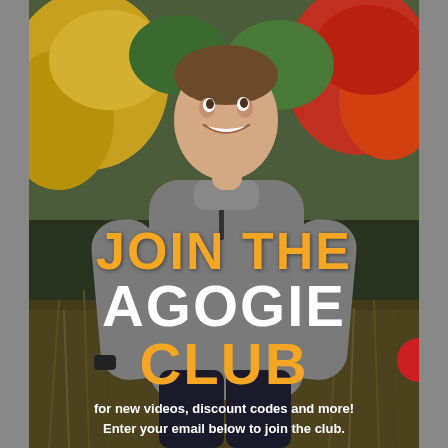[Figure (photo): A smiling young man wearing a gray zip-neck pullover standing outdoors with colorful autumn foliage (yellow, orange, red, green) and tall grass in the background.]
JOIN THE AGOGIE CLUB
for new videos, discount codes and more! Enter your email below to join the club.